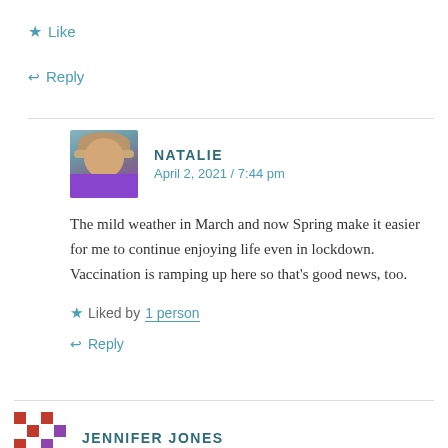★ Like
↩ Reply
NATALIE
April 2, 2021 / 7:44 pm
The mild weather in March and now Spring make it easier for me to continue enjoying life even in lockdown. Vaccination is ramping up here so that's good news, too.
★ Liked by 1 person
↩ Reply
JENNIFER JONES